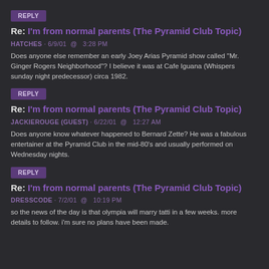REPLY
Re: I'm from normal parents (The Pyramid Club Topic)
HATCHES · 6/9/01  @  3:28 PM
Does anyone else remember an early Joey Arias Pyramid show called "Mr. Ginger Rogers Neighborhood"? I believe it was at Cafe Iguana (Whispers sunday night predecessor) circa 1982.
REPLY
Re: I'm from normal parents (The Pyramid Club Topic)
JACKIEROUGE (GUEST) · 6/22/01  @  12:27 AM
Does anyone know whatever happened to Bernard Zette? He was a fabulous entertainer at the Pyramid Club in the mid-80's and usually performed on Wednesday nights.
REPLY
Re: I'm from normal parents (The Pyramid Club Topic)
DRESSCODE · 7/2/01  @  10:19 PM
so the news of the day is that olympia will marry tatti in a few weeks. more details to follow. i'm sure no plans have been made.